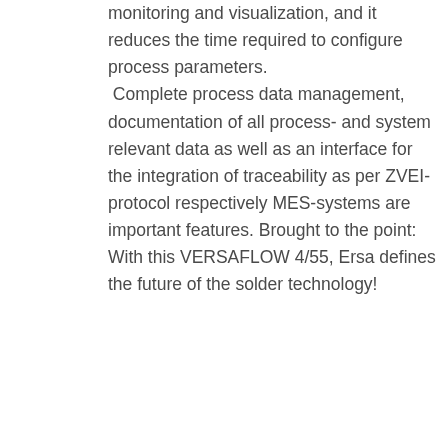monitoring and visualization, and it reduces the time required to configure process parameters. Complete process data management, documentation of all process- and system relevant data as well as an interface for the integration of traceability as per ZVEI- protocol respectively MES-systems are important features. Brought to the point: With this VERSAFLOW 4/55, Ersa defines the future of the solder technology!